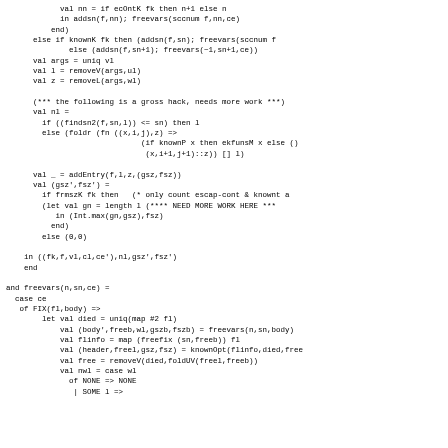val nn = if ecOntK fk then n+1 else n
            in addsn(f,nn); freevars(sccnum f,nn,ce)
          end)
      else if knownK fk then (addsn(f,sn); freevars(sccnum f
              else (addsn(f,sn+1); freevars(~1,sn+1,ce))
      val args = uniq vl
      val l = removeV(args,ul)
      val z = removeL(args,wl)

      (*** the following is a gross hack, needs more work ***)
      val nl =
        if ((findsn2(f,sn,l)) <= sn) then l
        else (foldr (fn ((x,i,j),z) =>
                              (if knownP x then ekfunsM x else ()
                               (x,i+1,j+1)::z)) [] l)

      val _ = addEntry(f,l,z,(gsz,fsz))
      val (gsz',fsz') =
        if frmszK fk then   (* only count escap-cont & knownt a
        (let val gn = length l (**** NEED MORE WORK HERE ***
           in (Int.max(gn,gsz),fsz)
          end)
        else (0,0)

    in ((fk,f,vl,cl,ce'),nl,gsz',fsz')
    end

and freevars(n,sn,ce) =
  case ce
   of FIX(fl,body) =>
        let val died = uniq(map #2 fl)
            val (body',freeb,wl,gszb,fszb) = freevars(n,sn,body)
            val flinfo = map (freefix (sn,freeb)) fl
            val (header,freel,gsz,fsz) = knownOpt(flinfo,died,free
            val free = removeV(died,foldUV(freel,freeb))
            val nwl = case wl
              of NONE => NONE
               | SOME l =>